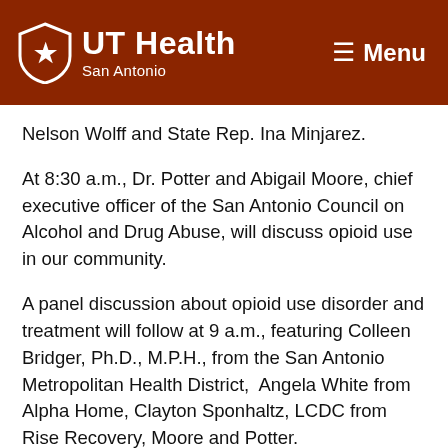UT Health San Antonio — Menu
Nelson Wolff and State Rep. Ina Minjarez.
At 8:30 a.m., Dr. Potter and Abigail Moore, chief executive officer of the San Antonio Council on Alcohol and Drug Abuse, will discuss opioid use in our community.
A panel discussion about opioid use disorder and treatment will follow at 9 a.m., featuring Colleen Bridger, Ph.D., M.P.H., from the San Antonio Metropolitan Health District,  Angela White from Alpha Home, Clayton Sponhaltz, LCDC from Rise Recovery, Moore and Potter.